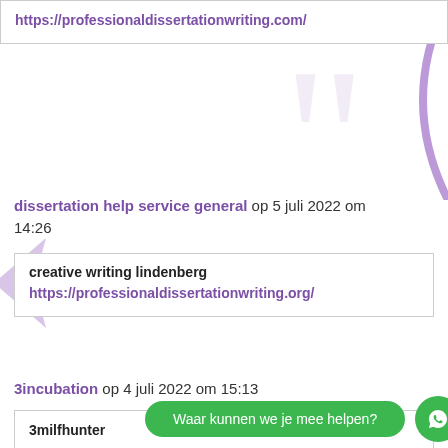https://professionaldissertationwriting.com/
dissertation help service general op 5 juli 2022 om 14:26
creative writing lindenberg
https://professionaldissertationwriting.org/
3incubation op 4 juli 2022 om 15:13
3milfhunter
Waar kunnen we je mee helpen?